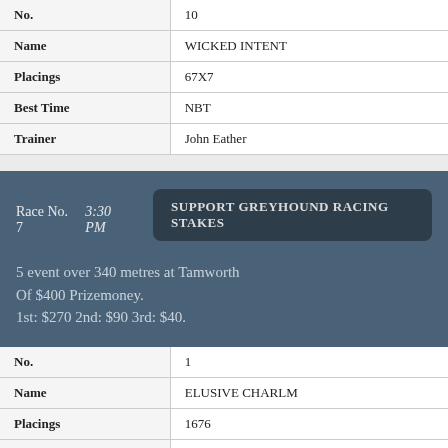| No. | 10 |
| Name | WICKED INTENT |
| Placings | 67X7 |
| Best Time | NBT |
| Trainer | John Eather |
Race No. 7   3:30 PM   SUPPORT GREYHOUND RACING STAKES
5 event over 340 metres at Tamworth Of $400 Prizemoney. 1st: $270 2nd: $90 3rd: $40.
| No. | 1 |
| Name | ELUSIVE CHARLM |
| Placings | 1676 |
| Best Time | NBT |
| Trainer | Richard Muscat |